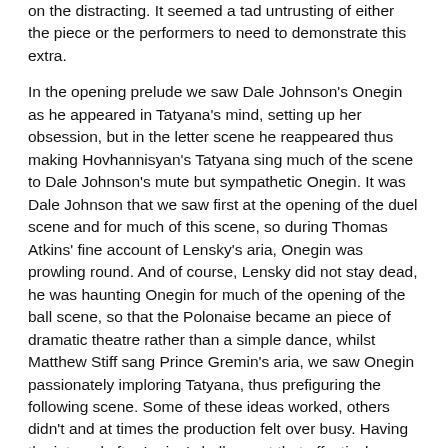on the distracting. It seemed a tad untrusting of either the piece or the performers to need to demonstrate this extra.
In the opening prelude we saw Dale Johnson's Onegin as he appeared in Tatyana's mind, setting up her obsession, but in the letter scene he reappeared thus making Hovhannisyan's Tatyana sing much of the scene to Dale Johnson's mute but sympathetic Onegin. It was Dale Johnson that we saw first at the opening of the duel scene and for much of this scene, so during Thomas Atkins' fine account of Lensky's aria, Onegin was prowling round. And of course, Lensky did not stay dead, he was haunting Onegin for much of the opening of the ball scene, so that the Polonaise became an piece of dramatic theatre rather than a simple dance, whilst Matthew Stiff sang Prince Gremin's aria, we saw Onegin passionately imploring Tatyana, thus prefiguring the following scene. Some of these ideas worked, others didn't and at times the production felt over busy. Having the interval after Larina's ball meant that effectively, we experienced the first half from Tatyana's point of view and the second from Onegin's.
From the outset Anush Hovhannisyan was a characterful and self-absorbed Tatyana. Hovhannisyan has an